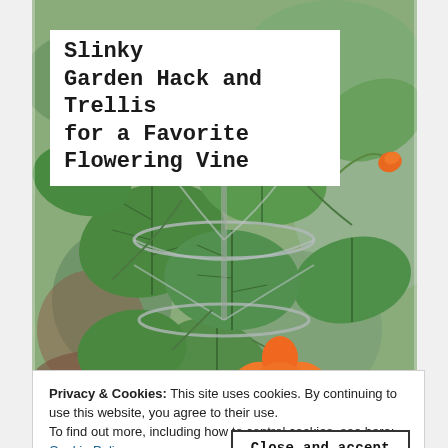[Figure (photo): Close-up photograph of a flowering vine (Thunbergia / Black-eyed Susan vine) with large green leaves, orange flowers with dark centers, and a spiral slinky metal trellis. Watermark reads robisvaletheroads.net.]
Slinky Garden Hack and Trellis for a Favorite Flowering Vine
Privacy & Cookies: This site uses cookies. By continuing to use this website, you agree to their use.
To find out more, including how to control cookies, see here:
Cookie Policy
[Figure (photo): Partial view of a second garden photo showing pavers or stonework at the bottom of the page.]